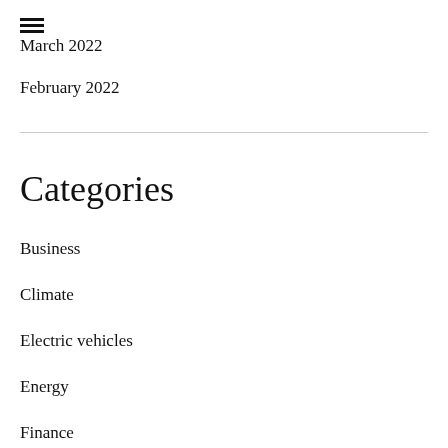March 2022
February 2022
Categories
Business
Climate
Electric vehicles
Energy
Finance